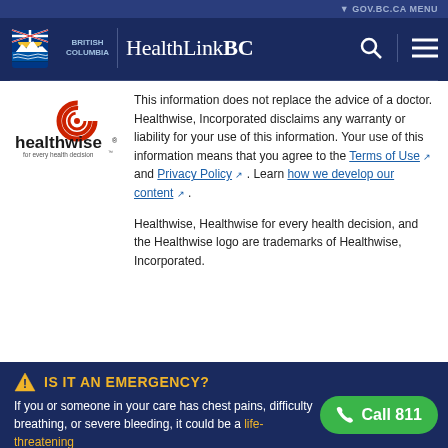GOV.BC.CA MENU
[Figure (logo): British Columbia HealthLinkBC logo with BC government crest and HealthLinkBC wordmark]
[Figure (logo): Healthwise logo — red spiral icon with 'healthwise' text and 'for every health decision' tagline]
This information does not replace the advice of a doctor. Healthwise, Incorporated disclaims any warranty or liability for your use of this information. Your use of this information means that you agree to the Terms of Use and Privacy Policy . Learn how we develop our content .
Healthwise, Healthwise for every health decision, and the Healthwise logo are trademarks of Healthwise, Incorporated.
IS IT AN EMERGENCY?
If you or someone in your care has chest pains, difficulty breathing, or severe bleeding, it could be a life-threatening